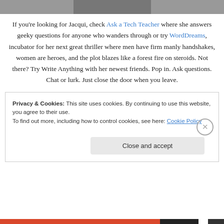[Figure (photo): Partial photo of a person, cropped at top of page]
If you're looking for Jacqui, check Ask a Tech Teacher where she answers geeky questions for anyone who wanders through or try WordDreams, incubator for her next great thriller where men have firm manly handshakes, women are heroes, and the plot blazes like a forest fire on steroids. Not there? Try Write Anything with her newest friends. Pop in. Ask questions. Chat or lurk. Just close the door when you leave.
Privacy & Cookies: This site uses cookies. By continuing to use this website, you agree to their use.
To find out more, including how to control cookies, see here: Cookie Policy
Close and accept